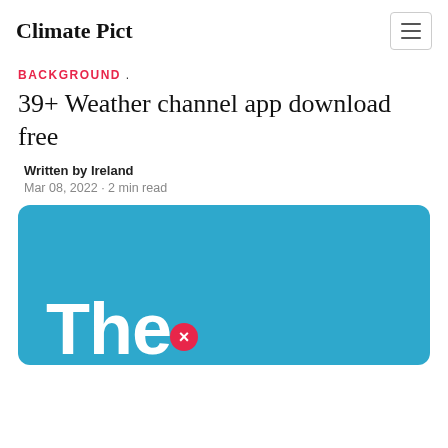Climate Pict
BACKGROUND .
39+ Weather channel app download free
Written by Ireland
Mar 08, 2022 · 2 min read
[Figure (screenshot): Blue card image with large white text 'The' and a red close/X badge icon in the bottom area]